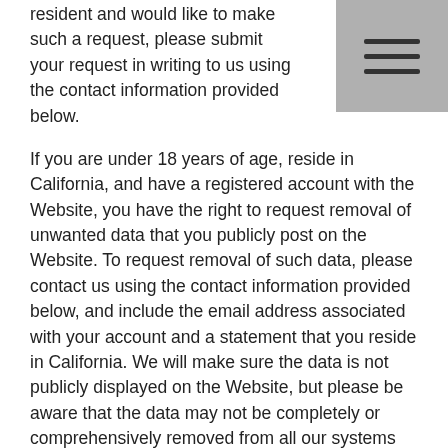resident and would like to make such a request, please submit your request in writing to us using the contact information provided below.
If you are under 18 years of age, reside in California, and have a registered account with the Website, you have the right to request removal of unwanted data that you publicly post on the Website. To request removal of such data, please contact us using the contact information provided below, and include the email address associated with your account and a statement that you reside in California. We will make sure the data is not publicly displayed on the Website, but please be aware that the data may not be completely or comprehensively removed from all our systems (e.g. backups, etc.).
CCPA Privacy Notice
The California Code of Regulations defines a "resident" as:
(1) every individual who is in the State of California for